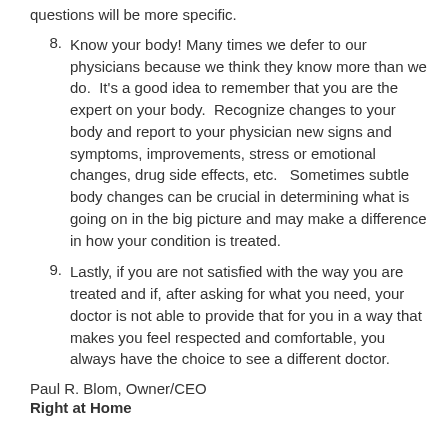questions will be more specific.
8. Know your body! Many times we defer to our physicians because we think they know more than we do.  It's a good idea to remember that you are the expert on your body.  Recognize changes to your body and report to your physician new signs and symptoms, improvements, stress or emotional changes, drug side effects, etc.   Sometimes subtle body changes can be crucial in determining what is going on in the big picture and may make a difference in how your condition is treated.
9. Lastly, if you are not satisfied with the way you are treated and if, after asking for what you need, your doctor is not able to provide that for you in a way that makes you feel respected and comfortable, you always have the choice to see a different doctor.
Paul R. Blom, Owner/CEO
Right at Home